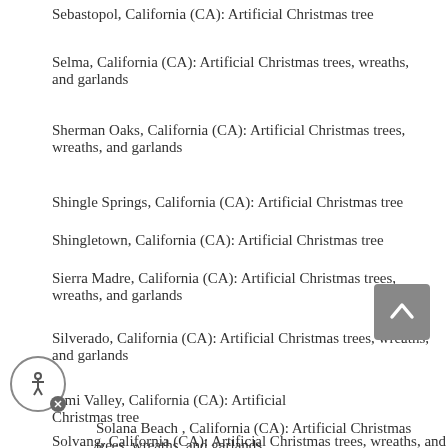Sebastopol, California (CA): Artificial Christmas tree
Selma, California (CA): Artificial Christmas trees, wreaths, and garlands
Sherman Oaks, California (CA): Artificial Christmas trees, wreaths, and garlands
Shingle Springs, California (CA): Artificial Christmas tree
Shingletown, California (CA): Artificial Christmas tree
Sierra Madre, California (CA): Artificial Christmas trees, wreaths, and garlands
Silverado, California (CA): Artificial Christmas trees, wreaths, and garlands
Simi Valley, California (CA): Artificial Christmas tree
Solana Beach , California (CA): Artificial Christmas trees, wreaths, and garlands
Solvang, California (CA): Artificial Christmas trees, wreaths, and